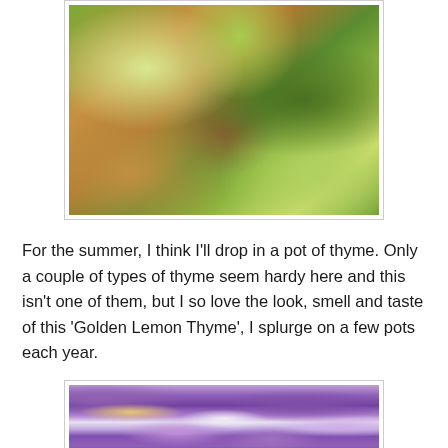[Figure (photo): Close-up photo of Golden Lemon Thyme plant with small green and yellow-green leaves in a terracotta pot, shown from above against a light background.]
For the summer, I think I'll drop in a pot of thyme. Only a couple of types of thyme seem hardy here and this isn't one of them, but I so love the look, smell and taste of this 'Golden Lemon Thyme', I splurge on a few pots each year.
[Figure (photo): Photo of purple and lavender pansy or viola flowers with yellow centers and a bee, shown from above.]